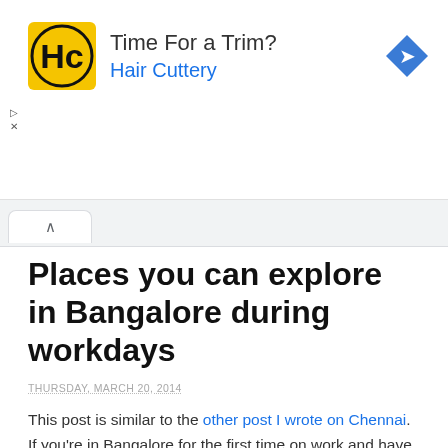[Figure (advertisement): Hair Cuttery ad banner with HC logo, text 'Time For a Trim?' and 'Hair Cuttery', and a blue navigation diamond icon]
Places you can explore in Bangalore during workdays
THURSDAY, MARCH 20, 2014
This post is similar to the other post I wrote on Chennai. If you're in Bangalore for the first time on work and have a week's time, but no weekends at your disposal (either your company doesn't encourage staying an extra day or you've a family to go back to), how best you can explore Bangalore during weekdays itself, using early morning and late evening time?